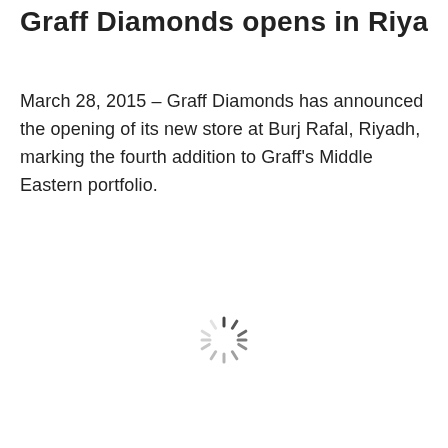Graff Diamonds opens in Riyadh
March 28, 2015 – Graff Diamonds has announced the opening of its new store at Burj Rafal, Riyadh, marking the fourth addition to Graff's Middle Eastern portfolio.
[Figure (other): Loading spinner icon (circular dashed spinner graphic)]